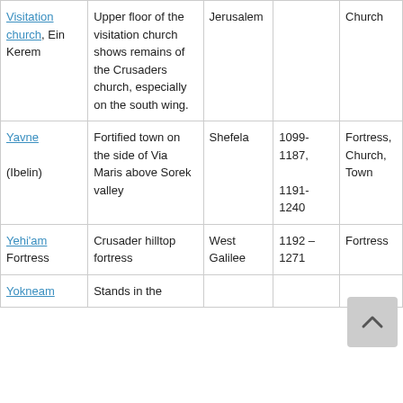| Name | Description | Region | Period | Type |
| --- | --- | --- | --- | --- |
| Visitation church, Ein Kerem | Upper floor of the visitation church shows remains of the Crusaders church, especially on the south wing. | Jerusalem |  | Church |
| Yavne (Ibelin) | Fortified town on the side of Via Maris above Sorek valley | Shefela | 1099-1187, 1191-1240 | Fortress, Church, Town |
| Yehi'am Fortress | Crusader hilltop fortress | West Galilee | 1192 – 1271 | Fortress |
| Yokneam | Stands in the |  |  |  |